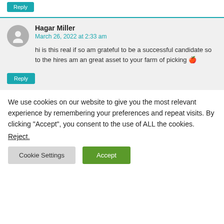Reply
Hagar Miller
March 26, 2022 at 2:33 am
hi is this real if so am grateful to be a successful candidate so to the hires am an great asset to your farm of picking 🍎
Reply
We use cookies on our website to give you the most relevant experience by remembering your preferences and repeat visits. By clicking "Accept", you consent to the use of ALL the cookies.
Reject.
Cookie Settings   Accept